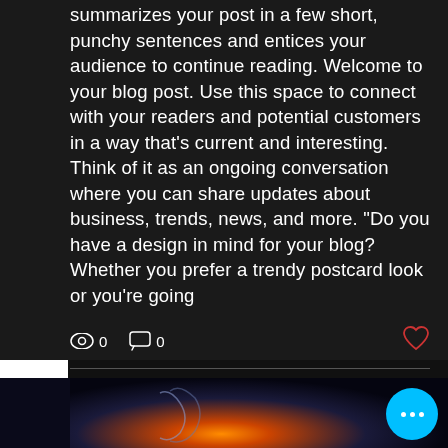summarizes your post in a few short, punchy sentences and entices your audience to continue reading. Welcome to your blog post. Use this space to connect with your readers and potential customers in a way that's current and interesting. Think of it as an ongoing conversation where you can share updates about business, trends, news, and more. "Do you have a design in mind for your blog? Whether you prefer a trendy postcard look or you're going
[Figure (screenshot): Social interaction bar showing views icon with 0, comments icon with 0, and a heart/like icon on the right]
[Figure (photo): Dark blue scene with a glowing orange/fire light at the bottom center, suggesting a figure or object illuminated from below, with dark abstract shapes]